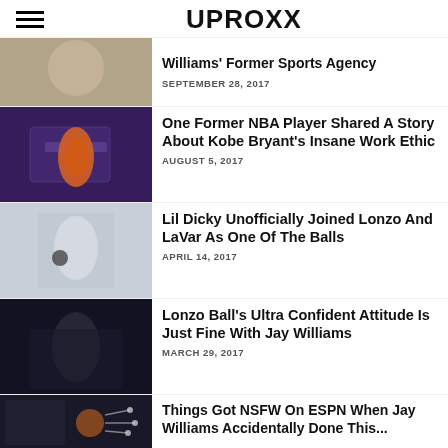UPROXX
Williams' Former Sports Agency
SEPTEMBER 28, 2017
One Former NBA Player Shared A Story About Kobe Bryant's Insane Work Ethic
AUGUST 5, 2017
Lil Dicky Unofficially Joined Lonzo And LaVar As One Of The Balls
APRIL 14, 2017
Lonzo Ball's Ultra Confident Attitude Is Just Fine With Jay Williams
MARCH 29, 2017
Things Got NSFW On ESPN When Jay Williams Accidentally Done This...